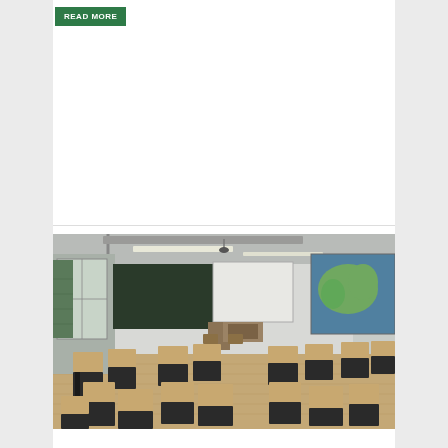READ MORE
[Figure (photo): Empty classroom with rows of individual student desks with attached chairs arranged in a large room. The front of the room has a blackboard, a projection screen, and a teacher's podium/desk. Large windows on the left with shelving. Overhead fluorescent lighting. A colorful world map or painting on the right wall. Hardwood-style floor.]
CDC SCRAPS 6-FOOT DISTANCE, PLASTIC